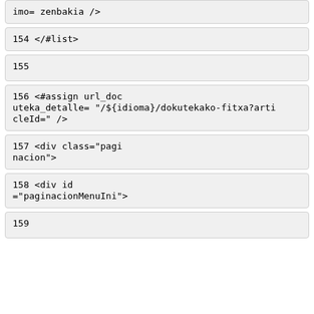imo= zenbakia />
154    </#list>
155
156    <#assign url_dokumenta_detalle= "/${idioma}/dokutekako-fitxa?articleId=" />
157    <div class="paginacion">
158    <div id="paginacionMenuIni">
159